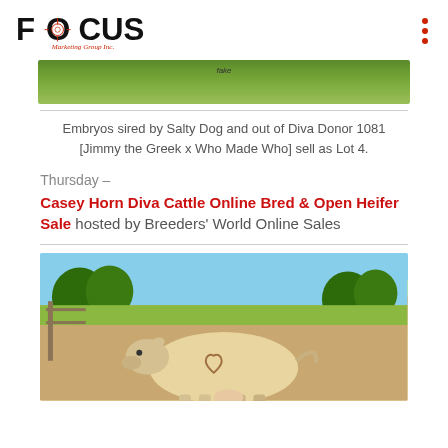FOCUS Marketing Group Inc.
[Figure (photo): Partial image of a grassy/dirt area with a label 'fake' visible, cropped at top]
Embryos sired by Salty Dog and out of Diva Donor 1081 [Jimmy the Greek x Who Made Who] sell as Lot 4.
Thursday –
Casey Horn Diva Cattle Online Bred & Open Heifer Sale hosted by Breeders' World Online Sales
[Figure (photo): A cream/white colored Charolais heifer standing in profile against a blue sky background with trees, a heart brand visible on her side]